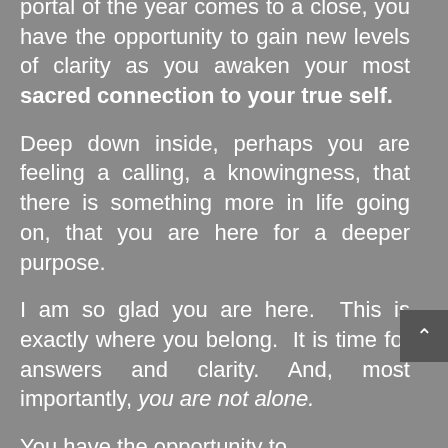portal of the year comes to a close, you have the opportunity to gain new levels of clarity as you awaken your most sacred connection to your true self.
Deep down inside, perhaps you are feeling a calling, a knowingness, that there is something more in life going on, that you are here for a deeper purpose.
I am so glad you are here. This is exactly where you belong. It is time for answers and clarity. And, most importantly, you are not alone.
You have the opportunity to